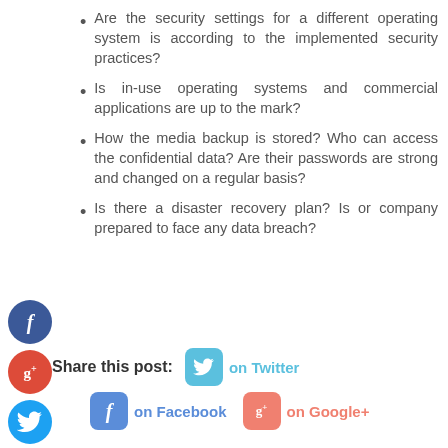Are the security settings for a different operating system is according to the implemented security practices?
Is in-use operating systems and commercial applications are up to the mark?
How the media backup is stored? Who can access the confidential data? Are their passwords are strong and changed on a regular basis?
Is there a disaster recovery plan? Is or company prepared to face any data breach?
Share this post: on Twitter on Facebook on Google+